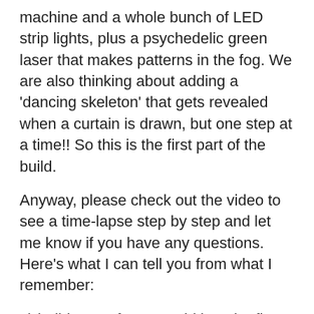machine and a whole bunch of LED strip lights, plus a psychedelic green laser that makes patterns in the fog. We are also thinking about adding a 'dancing skeleton' that gets revealed when a curtain is drawn, but one step at a time!! So this is the first part of the build.
Anyway, please check out the video to see a time-lapse step by step and let me know if you have any questions. Here's what I can tell you from what I remember:
1) build a 2x4 frame, weld it to the floor and tapcon support returns to the wall.
2) add a ceiling to hang red lights from
3) start trying out different film walls (1x3s and lauan) to see what fits
4) screw everything in place